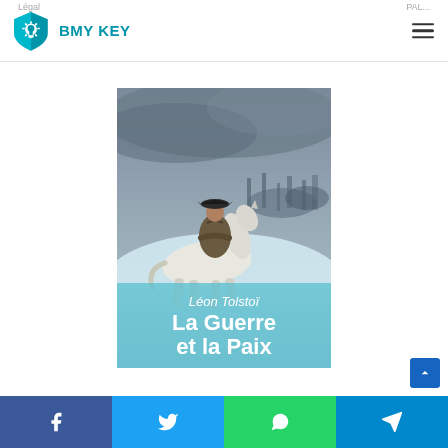Légal    PAL...
[Figure (logo): BMY KEY shield logo with lock icon in teal/cyan, with text 'BMY KEY' in teal bold font]
[Figure (photo): Book cover of 'La Guerre et la Paix' by Léon Tolstoï, showing a soldier on a white horse in a wintry battle scene, with title text overlaid at the bottom]
Social share bar: Facebook, Twitter, WhatsApp, Telegram